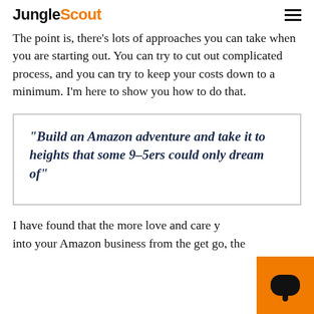JungleScout
The point is, there's lots of approaches you can take when you are starting out. You can try to cut out complicated process, and you can try to keep your costs down to a minimum. I'm here to show you how to do that.
“Build an Amazon adventure and take it to heights that some 9–5ers could only dream of”
I have found that the more love and care y... into your Amazon business from the get go, the